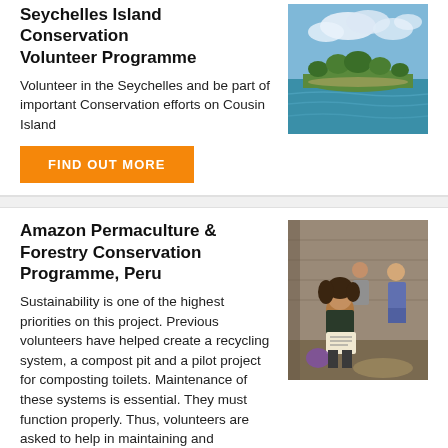Seychelles Island Conservation Volunteer Programme
Volunteer in the Seychelles and be part of important Conservation efforts on Cousin Island
[Figure (photo): Aerial or coastal view of Cousin Island in the Seychelles with blue sea and sky]
FIND OUT MORE
Amazon Permaculture & Forestry Conservation Programme, Peru
Sustainability is one of the highest priorities on this project. Previous volunteers have helped create a recycling system, a compost pit and a pilot project for composting toilets. Maintenance of these systems is essential. They must function properly. Thus, volunteers are asked to help in maintaining and harvesting the compost. In addition, volunteers get to use their own background to suggest new systems that the project may not be aware of.
[Figure (photo): Group of volunteers sitting together outdoors in a forest/Amazon setting, reviewing documents]